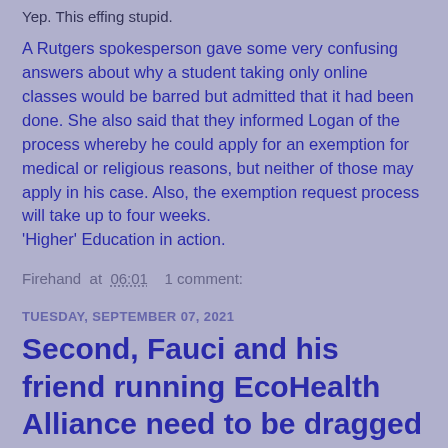Yep. This effing stupid.
A Rutgers spokesperson gave some very confusing answers about why a student taking only online classes would be barred but admitted that it had been done. She also said that they informed Logan of the process whereby he could apply for an exemption for medical or religious reasons, but neither of those may apply in his case. Also, the exemption request process will take up to four weeks.
'Higher' Education in action.
Firehand at 06:01    1 comment:
TUESDAY, SEPTEMBER 07, 2021
Second, Fauci and his friend running EcoHealth Alliance need to be dragged into a court